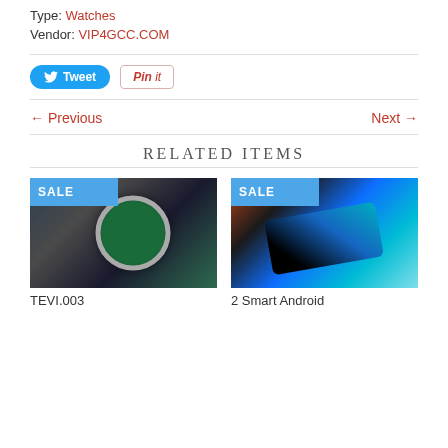Type: Watches
Vendor: VIP4GCC.COM
Tweet  Pin it
← Previous   Next →
RELATED ITEMS
[Figure (photo): Watch product image with SALE badge. Silver watch with green dial face on metal bracelet.]
TEVI.003
[Figure (photo): Smartphone product image with SALE badge. Multiple colored phones (black, red, blue) displayed on dark background.]
2 Smart Android